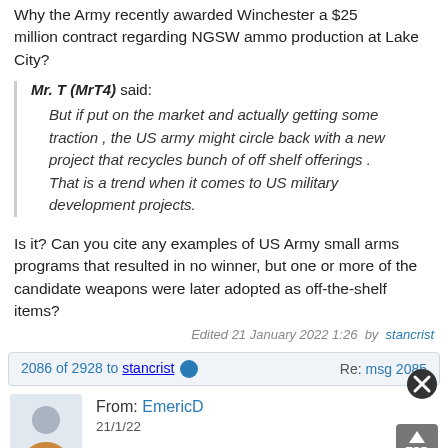Why the Army recently awarded Winchester a $25 million contract regarding NGSW ammo production at Lake City?
Mr. T (MrT4) said: But if put on the market and actually getting some traction , the US army might circle back with a new project that recycles bunch of off shelf offerings . That is a trend when it comes to US military development projects.
Is it?  Can you cite any examples of US Army small arms programs that resulted in no winner, but one or more of the candidate weapons were later adopted as off-the-shelf items?
Edited 21 January 2022 1:26  by  stancrist
2086 of 2928 to stancrist  Re: msg 2085
From: EmericD
21/1/22